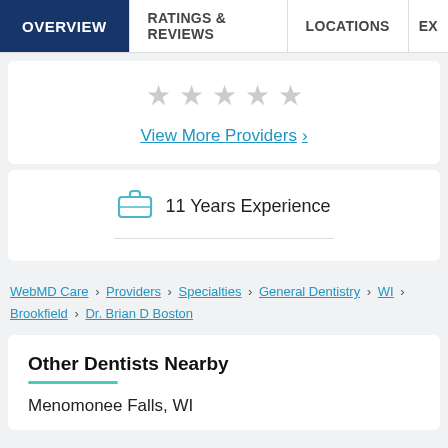OVERVIEW | RATINGS & REVIEWS | LOCATIONS | EX
[Figure (other): 5 empty/gray star rating icons]
View More Providers >
11 Years Experience
WebMD Care > Providers > Specialties > General Dentistry > WI > Brookfield > Dr. Brian D Boston
Other Dentists Nearby
Menomonee Falls, WI